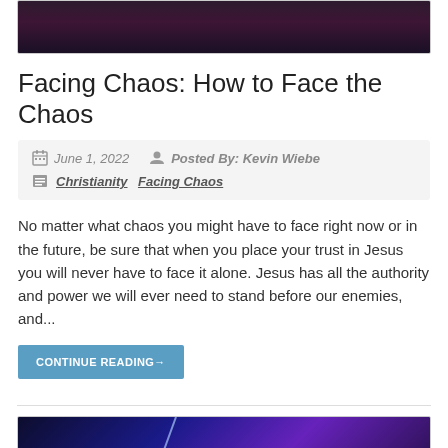[Figure (photo): Dark purple/maroon gradient image at top of page, partially cropped]
Facing Chaos: How to Face the Chaos
June 1, 2022   Posted By: Kevin Wiebe   Christianity Facing Chaos
No matter what chaos you might have to face right now or in the future, be sure that when you place your trust in Jesus you will never have to face it alone. Jesus has all the authority and power we will ever need to stand before our enemies, and...
CONTINUE READING→
[Figure (photo): Dark blue/purple gradient image at bottom of page, partially cropped, with diagonal light streak]